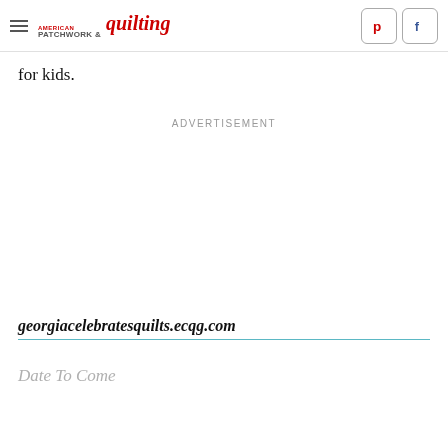American Patchwork & quilting
for kids.
ADVERTISEMENT
georgiacelebratesquilts.ecqg.com
Date To Come